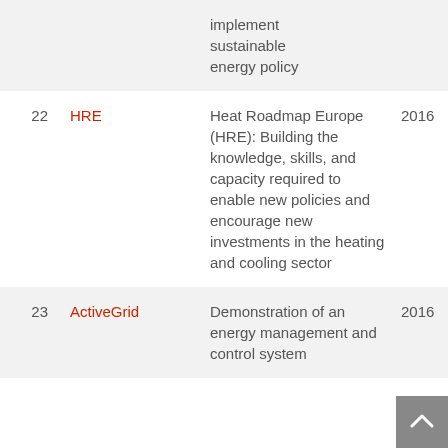| # | Name | Description | Year |
| --- | --- | --- | --- |
|  |  | implement sustainable energy policy |  |
| 22 | HRE | Heat Roadmap Europe (HRE): Building the knowledge, skills, and capacity required to enable new policies and encourage new investments in the heating and cooling sector | 2016 |
| 23 | ActiveGrid | Demonstration of an energy management and control system | 2016 |